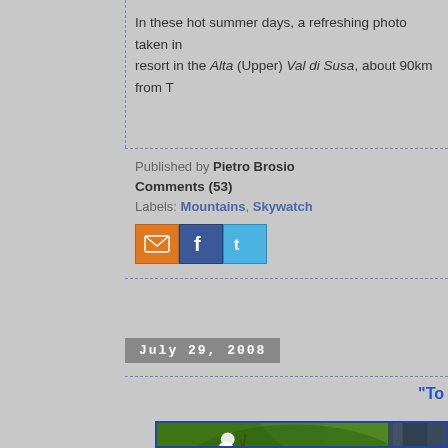In these hot summer days, a refreshing photo taken in resort in the Alta (Upper) Val di Susa, about 90km from T
Published by Pietro Brosio
Comments (53)
Labels: Mountains, Skywatch
[Figure (infographic): Social sharing icons: email (orange), Facebook (blue), Twitter (light blue)]
July 29, 2008
"To
[Figure (photo): Outdoor photo showing green vegetation and white flowers with a dark cylindrical object on the right]